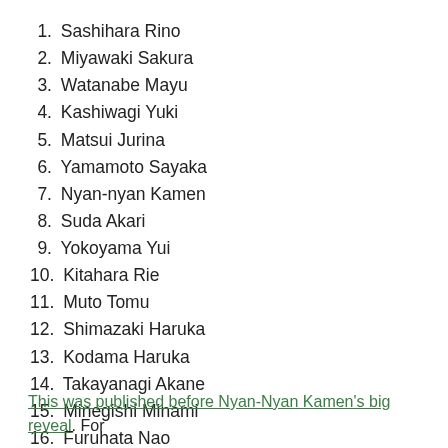1. Sashihara Rino
2. Miyawaki Sakura
3. Watanabe Mayu
4. Kashiwagi Yuki
5. Matsui Jurina
6. Yamamoto Sayaka
7. Nyan-nyan Kamen
8. Suda Akari
9. Yokoyama Yui
10. Kitahara Rie
11. Muto Tomu
12. Shimazaki Haruka
13. Kodama Haruka
14. Takayanagi Akane
15. Minegishi Minami
16. Furuhata Nao
This was published before Nyan-Nyan Kamen's big reveal. For